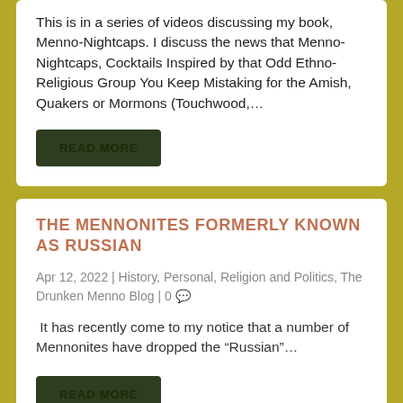This is in a series of videos discussing my book, Menno-Nightcaps. I discuss the news that Menno-Nightcaps, Cocktails Inspired by that Odd Ethno-Religious Group You Keep Mistaking for the Amish, Quakers or Mormons (Touchwood,...
READ MORE
THE MENNONITES FORMERLY KNOWN AS RUSSIAN
Apr 12, 2022 | History, Personal, Religion and Politics, The Drunken Menno Blog | 0
It has recently come to my notice that a number of Mennonites have dropped the “Russian”...
READ MORE